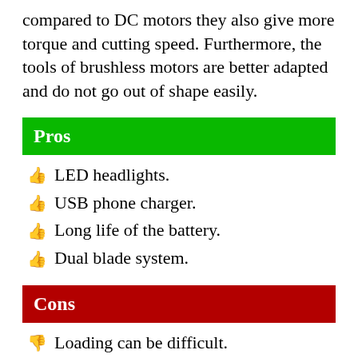compared to DC motors they also give more torque and cutting speed. Furthermore, the tools of brushless motors are better adapted and do not go out of shape easily.
Pros
LED headlights.
USB phone charger.
Long life of the battery.
Dual blade system.
Cons
Loading can be difficult.
The wheels are on a smaller side.